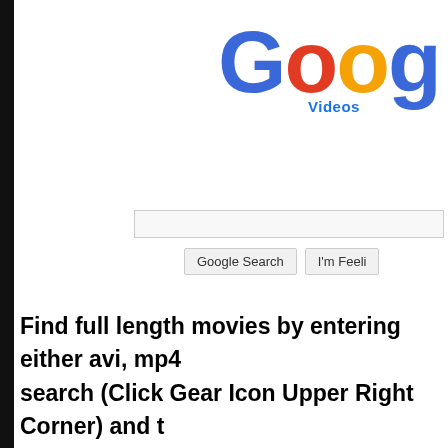[Figure (screenshot): Google Videos screenshot showing the Google logo (partially cropped on right), a search input box, Google Search button and I'm Feeling button (partially cropped).]
Find full length movies by entering either avi, mp4 search (Click Gear Icon Upper Right Corner) and t drop down menu. This will search the full YouTube of full movies. You may come across some newer These usually don't last long before YouTube take